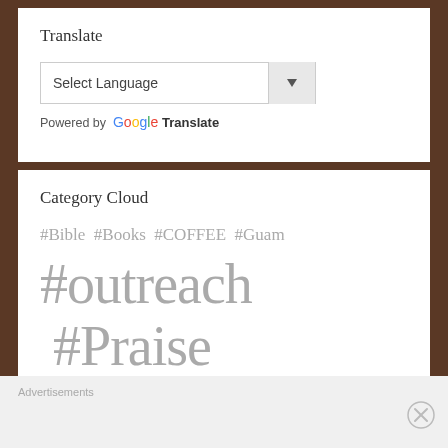Translate
[Figure (screenshot): Google Translate widget with a 'Select Language' dropdown and 'Powered by Google Translate' label]
Category Cloud
#Bible #Books #COFFEE #Guam
#outreach #Praise
#Prayer
Advertisements